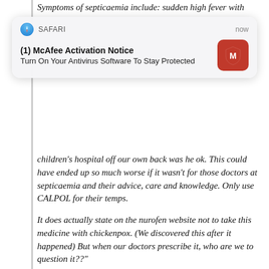Symptoms of septicaemia include: sudden high fever with
[Figure (screenshot): Mobile Safari browser notification overlay showing '(1) McAfee Activation Notice' with message 'Turn On Your Antivirus Software To Stay Protected' and McAfee logo icon, timestamped 'now']
children's hospital off our own back was he ok. This could have ended up so much worse if it wasn't for those doctors at septicaemia and their advice, care and knowledge. Only use CALPOL for their temps.
It does actually state on the nurofen website not to take this medicine with chickenpox. (We discovered this after it happened) But when our doctors prescribe it, who are we to question it??"
Lewis is currently in recovery.
Meanwhile, because of Hayley's public outcry, The National Institute for Health and Care Excellence (NICE) has recommended that ibuprofen is no longer used for chickenpox. The Royal College of Paediatrics and Child Health now says both parents and doctors need greater awareness of the small but significant risk ibuprofen carries in chickenpox cases.